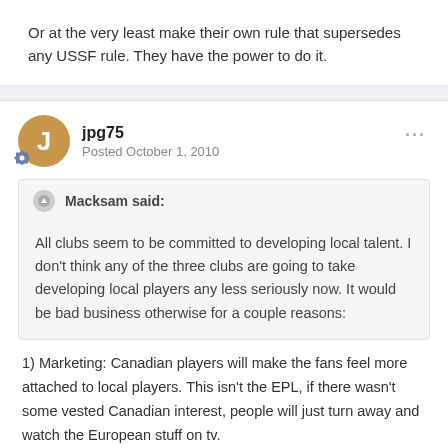Or at the very least make their own rule that supersedes any USSF rule. They have the power to do it.
jpg75
Posted October 1, 2010
Macksam said:
All clubs seem to be committed to developing local talent. I don't think any of the three clubs are going to take developing local players any less seriously now. It would be bad business otherwise for a couple reasons:
1) Marketing: Canadian players will make the fans feel more attached to local players. This isn't the EPL, if there wasn't some vested Canadian interest, people will just turn away and watch the European stuff on tv.
2) Performance: Having a homegrown squad will play better